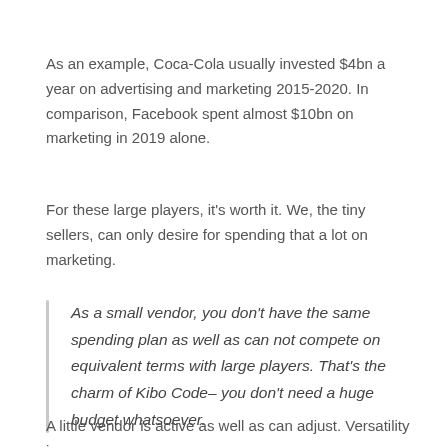As an example, Coca-Cola usually invested $4bn a year on advertising and marketing 2015-2020. In comparison, Facebook spent almost $10bn on marketing in 2019 alone.
For these large players, it's worth it. We, the tiny sellers, can only desire for spending that a lot on marketing.
As a small vendor, you don't have the same spending plan as well as can not compete on equivalent terms with large players. That's the charm of Kibo Code– you don't need a huge budget whatsoever.
A little vendor is active as well as can adjust. Versatility is your